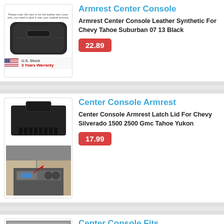[Figure (photo): Armrest center console leather cover product image with US Stock badge and 3 Years Warranty text]
Armrest Center Console
Armrest Center Console Leather Synthetic For Chevy Tahoe Suburban 07 13 Black
22.89
[Figure (photo): Center console armrest latch lid product image showing the latch mechanism and installed view]
Center Console Armrest
Center Console Armrest Latch Lid For Chevy Silverado 1500 2500 Gmc Tahoe Yukon
17.99
[Figure (photo): Center console fits product image showing interior console]
Center Console Fits
Center Console Fits Fit For 00